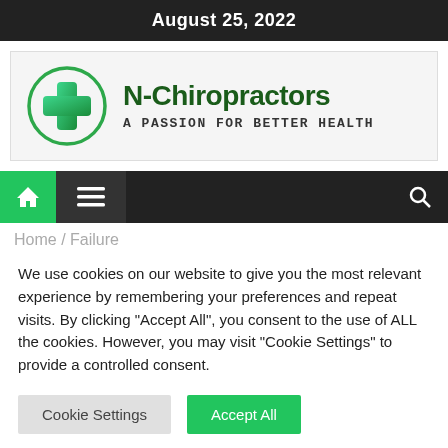August 25, 2022
[Figure (logo): N-Chiropractors logo with green cross circle icon, title 'N-Chiropractors' in dark green bold font, subtitle 'A PASSION FOR BETTER HEALTH' in monospace font]
[Figure (screenshot): Navigation bar with green home icon, hamburger menu icon, and search icon on dark background]
Home / Failure
We use cookies on our website to give you the most relevant experience by remembering your preferences and repeat visits. By clicking "Accept All", you consent to the use of ALL the cookies. However, you may visit "Cookie Settings" to provide a controlled consent.
Cookie Settings | Accept All